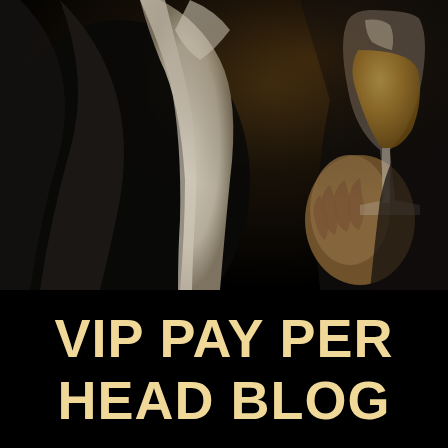[Figure (photo): A man in a black suit and white dress shirt holding a glass of whiskey or wine. The photo is dark and moody with a black background, showing only the torso and hand of the person.]
VIP PAY PER HEAD BLOG